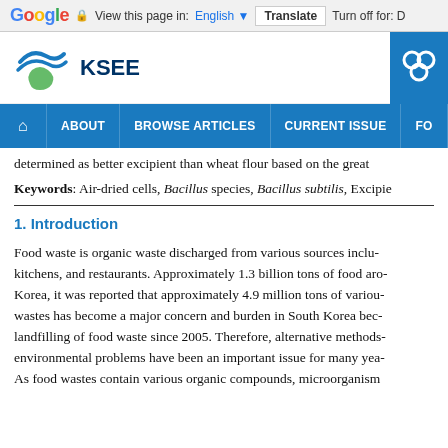Google | View this page in: English | Translate | Turn off for: D
[Figure (logo): KSEE organization logo with blue wave and green hands icon, and a blue square logo on the right]
Home | ABOUT | BROWSE ARTICLES | CURRENT ISSUE | FO...
determined as better excipient than wheat flour based on the great
Keywords: Air-dried cells, Bacillus species, Bacillus subtilis, Excipie…
1. Introduction
Food waste is organic waste discharged from various sources inclu- kitchens, and restaurants. Approximately 1.3 billion tons of food aro- Korea, it was reported that approximately 4.9 million tons of variou- wastes has become a major concern and burden in South Korea bec- landfilling of food waste since 2005. Therefore, alternative methods- environmental problems have been an important issue for many yea- As food wastes contain various organic compounds, microorganism